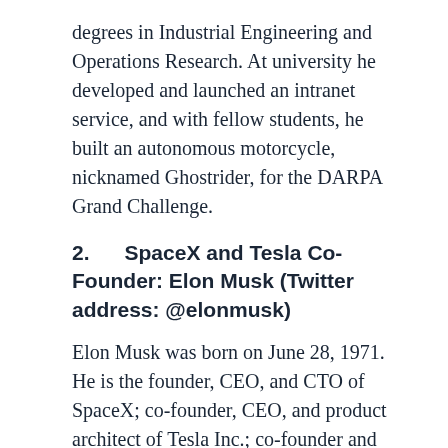degrees in Industrial Engineering and Operations Research. At university he developed and launched an intranet service, and with fellow students, he built an autonomous motorcycle, nicknamed Ghostrider, for the DARPA Grand Challenge.
2.      SpaceX and Tesla Co-Founder: Elon Musk (Twitter address: @elonmusk)
Elon Musk was born on June 28, 1971. He is the founder, CEO, and CTO of SpaceX; co-founder, CEO, and product architect of Tesla Inc.; co-founder and chairman of SolarCity; co-chairman of OpenAI; co-founder of Zip2; and founder of PayPal.